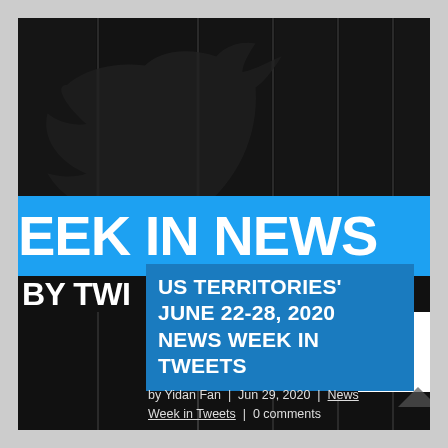[Figure (illustration): Dark/black background with a Twitter bird logo silhouette visible in upper portion, overlapping black grid/column elements creating a collage-style design]
EEK IN NEWS
US TERRITORIES' JUNE 22-28, 2020 NEWS WEEK IN TWEETS
by Yidan Fan | Jun 29, 2020 | News Week in Tweets | 0 comments